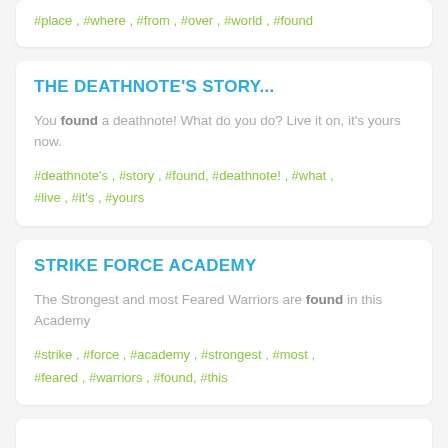#place , #where , #from , #over , #world , #found
THE DEATHNOTE'S STORY...
You found a deathnote! What do you do? Live it on, it's yours now.
#deathnote's , #story , #found, #deathnote! , #what , #live , #it's , #yours
STRIKE FORCE ACADEMY
The Strongest and most Feared Warriors are found in this Academy
#strike , #force , #academy , #strongest , #most , #feared , #warriors , #found, #this